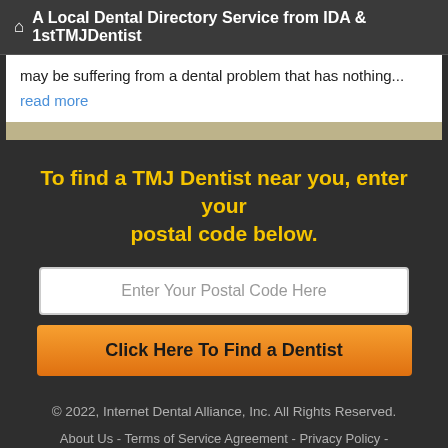A Local Dental Directory Service from IDA & 1stTMJDentist
may be suffering from a dental problem that has nothing...
read more
To find a TMJ Dentist near you, enter your postal code below.
Enter Your Postal Code Here
Click Here To Find a Dentist
© 2022, Internet Dental Alliance, Inc. All Rights Reserved.
About Us - Terms of Service Agreement - Privacy Policy - Accessibility Statement - Doctor Registration